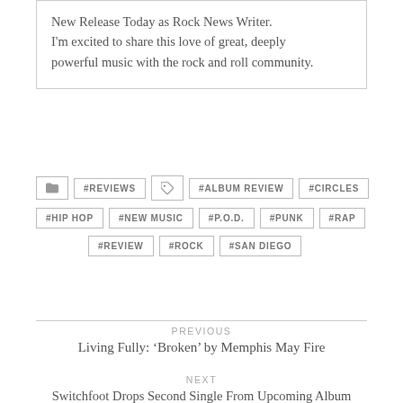New Release Today as Rock News Writer. I'm excited to share this love of great, deeply powerful music with the rock and roll community.
#REVIEWS
#ALBUM REVIEW
#CIRCLES
#HIP HOP
#NEW MUSIC
#P.O.D.
#PUNK
#RAP
#REVIEW
#ROCK
#SAN DIEGO
PREVIOUS
Living Fully: ‘Broken’ by Memphis May Fire
NEXT
Switchfoot Drops Second Single From Upcoming Album ‘Native Tongue’